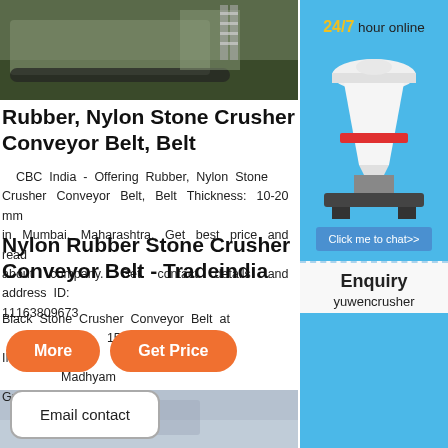[Figure (photo): Top portion of a tracked stone crusher machine outdoors]
Rubber, Nylon Stone Crusher Conveyor Belt, Belt
CBC India - Offering Rubber, Nylon Stone Crusher Conveyor Belt, Belt Thickness: 10-20 mm in Mumbai, Maharashtra. Get best price and read about company. Get contact details and address ID: 11163809673
Nylon Rubber Stone Crusher Conveyor Belt - Tradeindia
Black Stone Crusher Conveyor Belt at Price 1500 INR/Meter in Madhyam Gram, Kolkata. Buy
[Figure (illustration): Orange rounded button labeled More]
[Figure (illustration): Orange rounded button labeled Get Price]
[Figure (illustration): Bordered button labeled Email contact]
[Figure (photo): Bottom partial product image, gray/blue tones]
[Figure (infographic): Right sidebar ad: 24/7 hour online, crusher machine image, Click me to chat>> button, Enquiry, yuwencrusher text on blue background]